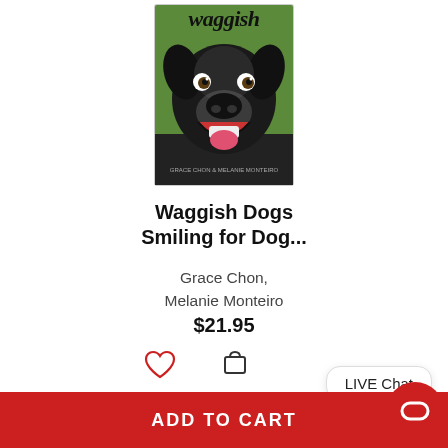[Figure (photo): Book cover for 'Waggish Dogs Smiling for Dog...' showing a black Labrador with mouth open on a green background, with the word 'waggish' at the top.]
Waggish Dogs Smiling for Dog...
Grace Chon, Melanie Monteiro
$21.95
LIVE Chat
TRENDING ITEMS IN PETS
ADD TO CART